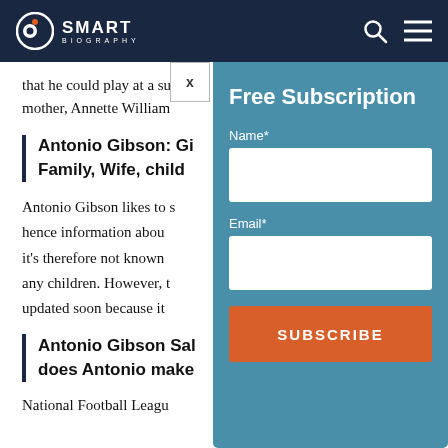SMART BIOGRAPHY
that he could play at a su… mother, Annette William…
Antonio Gibson: Gi… Family, Wife, child…
Antonio Gibson likes to s… hence information abou… it's therefore not known… any children. However, t… updated soon because it…
Antonio Gibson Sa… does Antonio make…
National Football Leagu…
[Figure (screenshot): Free Subscription popup modal with Name and Email fields and a SUBSCRIBE button, overlaid on the biography page content. Has an X close button.]